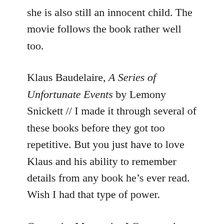she is also still an innocent child. The movie follows the book rather well too.
Klaus Baudelaire, A Series of Unfortunate Events by Lemony Snickett // I made it through several of these books before they got too repetitive. But you just have to love Klaus and his ability to remember details from any book he's ever read. Wish I had that type of power.
Cassandra Mortmain, I Capture the Castle by Dodie Smith // I read this book last year on a recommendation from a friend. Cassandra writes about her experiences in her journal in a beautiful and detailed way. You can't help but feel a part of her story and feel the details she describes.